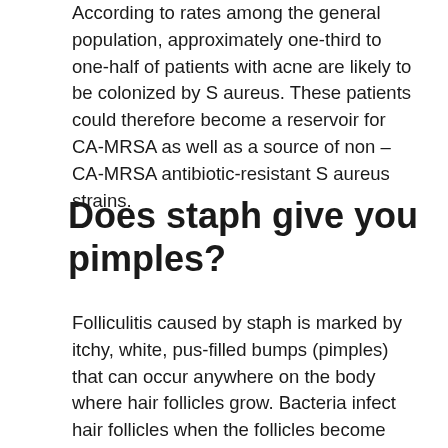According to rates among the general population, approximately one-third to one-half of patients with acne are likely to be colonized by S aureus. These patients could therefore become a reservoir for CA-MRSA as well as a source of non –CA-MRSA antibiotic-resistant S aureus strains.
Does staph give you pimples?
Folliculitis caused by staph is marked by itchy, white, pus-filled bumps (pimples) that can occur anywhere on the body where hair follicles grow. Bacteria infect hair follicles when the follicles become damaged. Common causes of follicle damage include friction or irritation from shaving and acne,